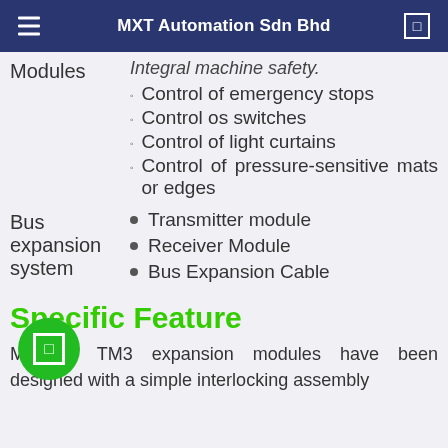MXT Automation Sdn Bhd
Modules
Integral machine safety.
Control of emergency stops
Control os switches
Control of light curtains
Control of pressure-sensitive mats or edges
Bus expansion system
Transmitter module
Receiver Module
Bus Expansion Cable
Specific Feature
Modicon TM3 expansion modules have been designed with a simple interlocking assembly